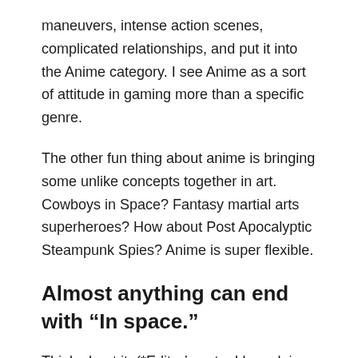maneuvers, intense action scenes, complicated relationships, and put it into the Anime category. I see Anime as a sort of attitude in gaming more than a specific genre.
The other fun thing about anime is bringing some unlike concepts together in art. Cowboys in Space? Fantasy martial arts superheroes? How about Post Apocalyptic Steampunk Spies? Anime is super flexible.
Almost anything can end with “In space.”
Think about it. (*Editor’s note: I love doing this!) You